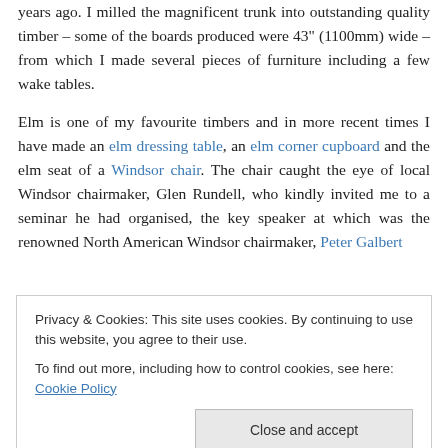years ago. I milled the magnificent trunk into outstanding quality timber – some of the boards produced were 43" (1100mm) wide – from which I made several pieces of furniture including a few wake tables.

Elm is one of my favourite timbers and in more recent times I have made an elm dressing table, an elm corner cupboard and the elm seat of a Windsor chair. The chair caught the eye of local Windsor chairmaker, Glen Rundell, who kindly invited me to a seminar he had organised, the key speaker at which was the renowned North American Windsor chairmaker, Peter Galbert.
Privacy & Cookies: This site uses cookies. By continuing to use this website, you agree to their use.
To find out more, including how to control cookies, see here: Cookie Policy
[Close and accept]
chairmaking, woodworking in general and the necessarily